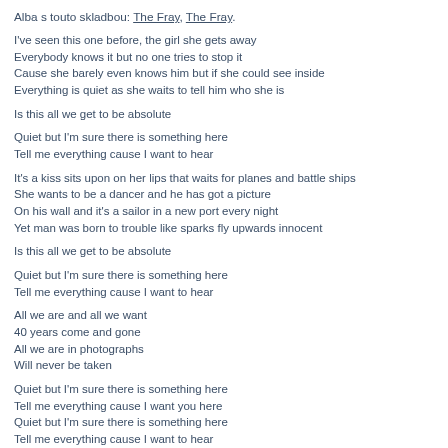Alba s touto skladbou: The Fray, The Fray.
I've seen this one before, the girl she gets away
Everybody knows it but no one tries to stop it
Cause she barely even knows him but if she could see inside
Everything is quiet as she waits to tell him who she is
Is this all we get to be absolute
Quiet but I'm sure there is something here
Tell me everything cause I want to hear
It's a kiss sits upon on her lips that waits for planes and battle ships
She wants to be a dancer and he has got a picture
On his wall and it's a sailor in a new port every night
Yet man was born to trouble like sparks fly upwards innocent
Is this all we get to be absolute
Quiet but I'm sure there is something here
Tell me everything cause I want to hear
All we are and all we want
40 years come and gone
All we are in photographs
Will never be taken
Quiet but I'm sure there is something here
Tell me everything cause I want you here
Quiet but I'm sure there is something here
Tell me everything cause I want to hear